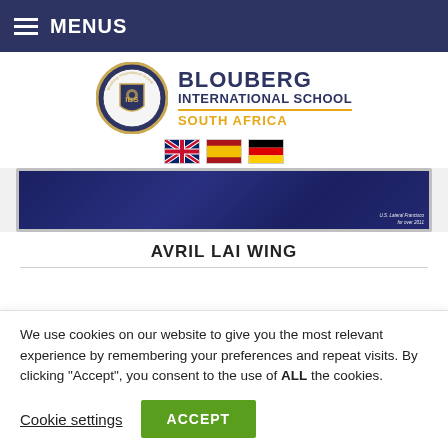MENUS
[Figure (logo): Blouberg International School logo with circular crest, school name, South Africa subtitle, and three country flags (UK, Spain, Germany)]
[Figure (photo): Hero image showing dark navy blue fabric/curtain background with small watermark text in bottom right corner]
AVRIL LAI WING
We use cookies on our website to give you the most relevant experience by remembering your preferences and repeat visits. By clicking "Accept", you consent to the use of ALL the cookies.
Cookie settings  ACCEPT